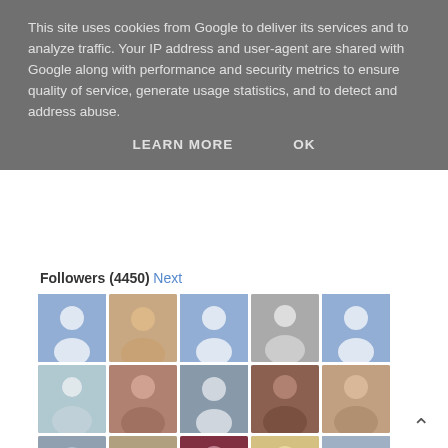This site uses cookies from Google to deliver its services and to analyze traffic. Your IP address and user-agent are shared with Google along with performance and security metrics to ensure quality of service, generate usage statistics, and to detect and address abuse.
LEARN MORE   OK
Followers (4450) Next
[Figure (other): Grid of follower avatar thumbnails, mix of profile photos and generic user silhouettes]
Follow
SUBSCRIBE NOW: STANDARD
[Figure (other): Orange RSS feed icon]
Subscribe in a reader